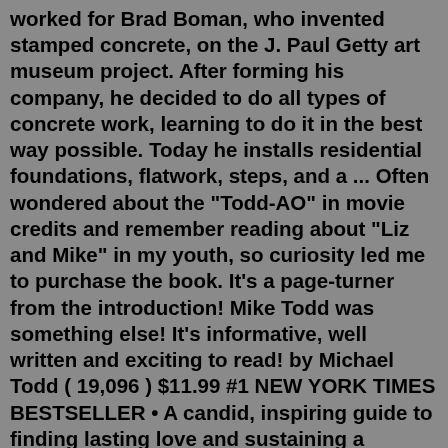worked for Brad Boman, who invented stamped concrete, on the J. Paul Getty art museum project. After forming his company, he decided to do all types of concrete work, learning to do it in the best way possible. Today he installs residential foundations, flatwork, steps, and a ... Often wondered about the "Todd-AO" in movie credits and remember reading about "Liz and Mike" in my youth, so curiosity led me to purchase the book. It's a page-turner from the introduction! Mike Todd was something else! It's informative, well written and exciting to read! by Michael Todd ( 19,096 ) $11.99 #1 NEW YORK TIMES BESTSELLER • A candid, inspiring guide to finding lasting love and sustaining a healthy relationship by getting real about your goals—based on the viral, multi-million-view sermon series about dating, marriage, and sex2. Michael Todd (born Avrom Hirsch Goldbogen; June 22, 1909 – March 22, 1958) was an American theater and film producer, best known for his 1956 production of Around the World in 80 Days, which won an Academy Award for